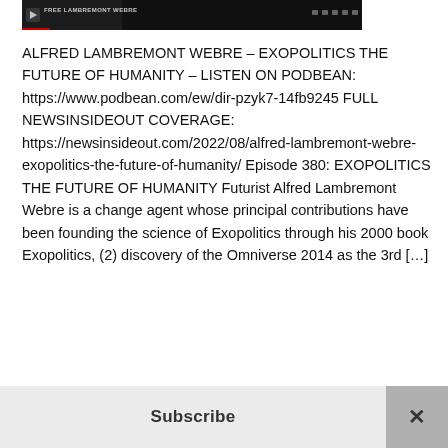[Figure (screenshot): Video player thumbnail showing 'Alfred Lambremont Webre' title text on dark background with playback controls]
ALFRED LAMBREMONT WEBRE – EXOPOLITICS THE FUTURE OF HUMANITY – LISTEN ON PODBEAN: https://www.podbean.com/ew/dir-pzyk7-14fb9245 FULL NEWSINSIDEOUT COVERAGE: https://newsinsideout.com/2022/08/alfred-lambremont-webre-exopolitics-the-future-of-humanity/ Episode 380: EXOPOLITICS THE FUTURE OF HUMANITY Futurist Alfred Lambremont Webre is a change agent whose principal contributions have been founding the science of Exopolitics through his 2000 book Exopolitics, (2) discovery of the Omniverse 2014 as the 3rd […]
Subscribe